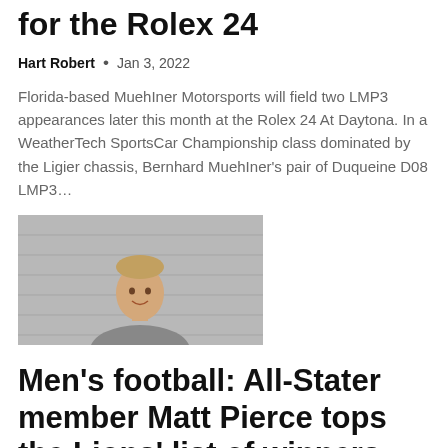for the Rolex 24
Hart Robert  •  Jan 3, 2022
Florida-based Muehlner Motorsports will field two LMP3 appearances later this month at the Rolex 24 At Daytona. In a WeatherTech SportsCar Championship class dominated by the Ligier chassis, Bernhard MuehIner's pair of Duqueine D08 LMP3...
[Figure (photo): Portrait photo of a young man wearing a grey t-shirt, smiling, against a grey siding background]
Men's football: All-Stater member Matt Pierce tops the Lions' list of winners. |...